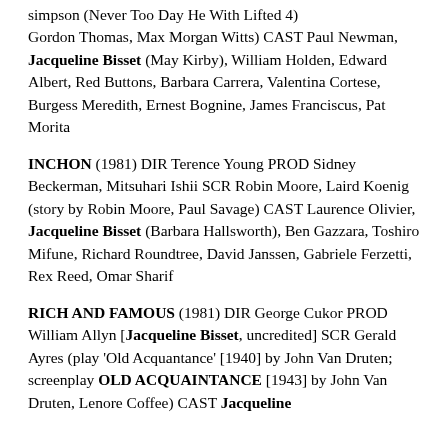simpson (Never Too Day He With Lifted 4) Gordon Thomas, Max Morgan Witts) CAST Paul Newman, Jacqueline Bisset (May Kirby), William Holden, Edward Albert, Red Buttons, Barbara Carrera, Valentina Cortese, Burgess Meredith, Ernest Bognine, James Franciscus, Pat Morita
INCHON (1981) DIR Terence Young PROD Sidney Beckerman, Mitsuhari Ishii SCR Robin Moore, Laird Koenig (story by Robin Moore, Paul Savage) CAST Laurence Olivier, Jacqueline Bisset (Barbara Hallsworth), Ben Gazzara, Toshiro Mifune, Richard Roundtree, David Janssen, Gabriele Ferzetti, Rex Reed, Omar Sharif
RICH AND FAMOUS (1981) DIR George Cukor PROD William Allyn [Jacqueline Bisset, uncredited] SCR Gerald Ayres (play 'Old Acquantance' [1940] by John Van Druten; screenplay OLD ACQUAINTANCE [1943] by John Van Druten, Lenore Coffee) CAST Jacqueline